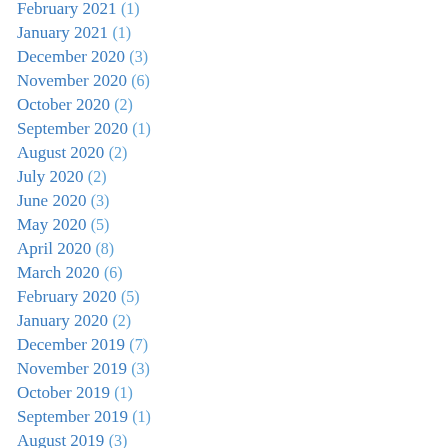February 2021 (1)
January 2021 (1)
December 2020 (3)
November 2020 (6)
October 2020 (2)
September 2020 (1)
August 2020 (2)
July 2020 (2)
June 2020 (3)
May 2020 (5)
April 2020 (8)
March 2020 (6)
February 2020 (5)
January 2020 (2)
December 2019 (7)
November 2019 (3)
October 2019 (1)
September 2019 (1)
August 2019 (3)